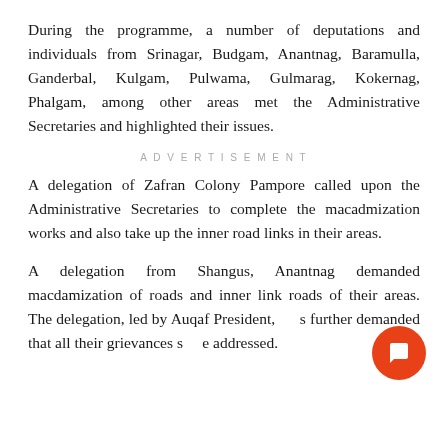During the programme, a number of deputations and individuals from Srinagar, Budgam, Anantnag, Baramulla, Ganderbal, Kulgam, Pulwama, Gulmarag, Kokernag, Phalgam, among other areas met the Administrative Secretaries and highlighted their issues.
ADVERTISEMENT
A delegation of Zafran Colony Pampore called upon the Administrative Secretaries to complete the macadmization works and also take up the inner road links in their areas.
A delegation from Shangus, Anantnag demanded macdamization of roads and inner link roads of their areas. The delegation, led by Auqaf President, was further demanded that all their grievances should be addressed.